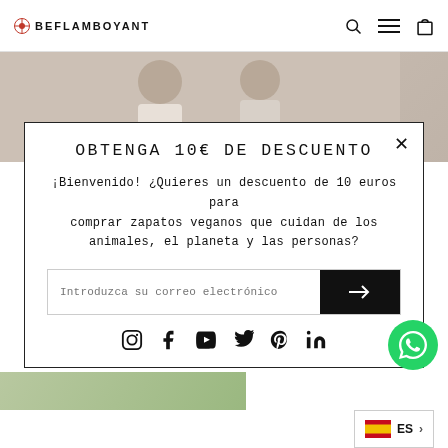BE FLAMBOYANT
[Figure (photo): Photo of two women in light clothing, fashion editorial style]
OBTENGA 10€ DE DESCUENTO
¡Bienvenido! ¿Quieres un descuento de 10 euros para comprar zapatos veganos que cuidan de los animales, el planeta y las personas?
Introduzca su correo electrónico
[Figure (infographic): Social media icons: Instagram, Facebook, YouTube, Twitter, Pinterest, LinkedIn]
[Figure (infographic): Spanish flag language selector showing ES with arrow]
[Figure (infographic): Gift icon circular button in black]
[Figure (infographic): WhatsApp green circular button]